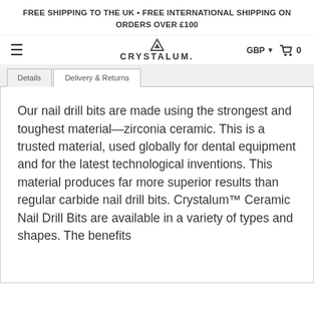FREE SHIPPING TO THE UK • FREE INTERNATIONAL SHIPPING ON ORDERS OVER £100
[Figure (logo): Crystalum logo with triangle/pyramid icon above text CRYSTALUM.]
Details   Delivery & Returns
Our nail drill bits are made using the strongest and toughest material—zirconia ceramic. This is a trusted material, used globally for dental equipment and for the latest technological inventions. This material produces far more superior results than regular carbide nail drill bits. Crystalum™ Ceramic Nail Drill Bits are available in a variety of types and shapes. The benefits